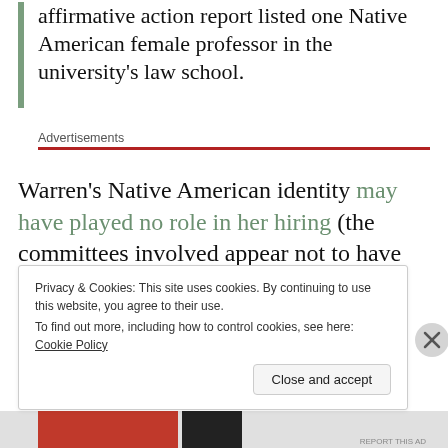affirmative action report listed one Native American female professor in the university's law school.
Advertisements
Warren's Native American identity may have played no role in her hiring (the committees involved appear not to have known or cared
Privacy & Cookies: This site uses cookies. By continuing to use this website, you agree to their use.
To find out more, including how to control cookies, see here: Cookie Policy